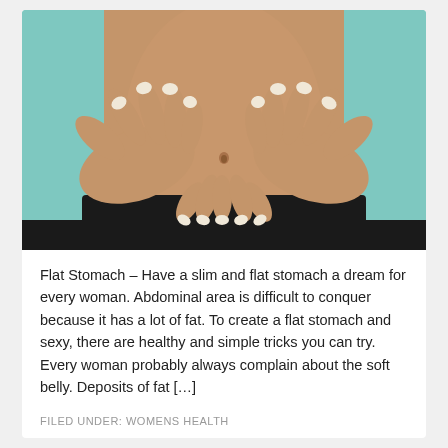[Figure (photo): Close-up photo of a woman's flat, bare midriff/stomach area against a teal background. Her hands frame her abdomen from both sides, fingers meeting at the bottom center, with manicured white-tipped nails visible. She is wearing black pants/shorts.]
Flat Stomach – Have a slim and flat stomach a dream for every woman. Abdominal area is difficult to conquer because it has a lot of fat. To create a flat stomach and sexy, there are healthy and simple tricks you can try. Every woman probably always complain about the soft belly. Deposits of fat […]
FILED UNDER: WOMENS HEALTH